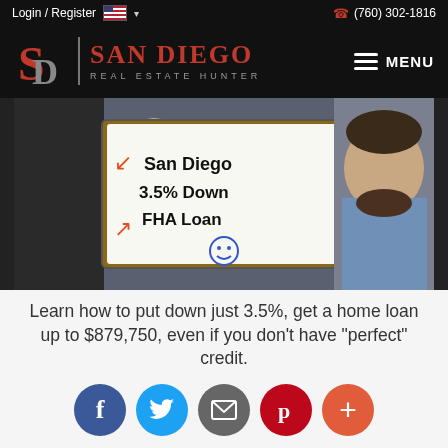Login / Register    (760) 302-1816
[Figure (logo): San Diego Real Estate Hunter logo with SD monogram in red, vertical divider, and red San Diego text with gray Real Estate Hunter subtitle]
[Figure (photo): Man holding whiteboard with text: SAN Diego 3.5% Down FHA Loan with red arrows drawn on it]
Learn how to put down just 3.5%, get a home loan up to $879,750, even if you don't have "perfect" credit.
[Figure (infographic): Social sharing buttons: Facebook (blue), Twitter (light blue), Email (gray), Pinterest (red), Plus (orange-red)]